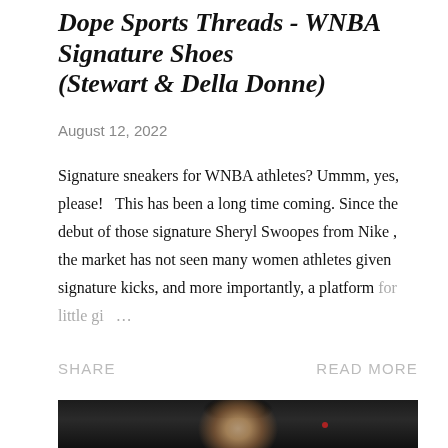Dope Sports Threads - WNBA Signature Shoes (Stewart & Della Donne)
August 12, 2022
Signature sneakers for WNBA athletes? Ummm, yes, please!   This has been a long time coming. Since the debut of those signature Sheryl Swoopes from Nike , the market has not seen many women athletes given signature kicks, and more importantly, a platform for little gi …
SHARE
READ MORE
[Figure (photo): Dark photo of a man with long hair looking upward, with a red light visible in the dark background.]